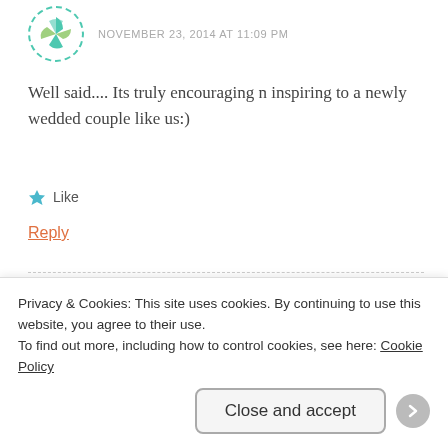[Figure (illustration): Green dashed circle avatar with leaf/pinwheel icon]
NOVEMBER 23, 2014 AT 11:09 PM
Well said.... Its truly encouraging n inspiring to a newly wedded couple like us:)
Like
Reply
[Figure (photo): Profile photo of Sasha in dashed orange circular frame]
Sasha
NOVEMBER 25, 2014 AT 3:54 PM
Privacy & Cookies: This site uses cookies. By continuing to use this website, you agree to their use.
To find out more, including how to control cookies, see here: Cookie Policy